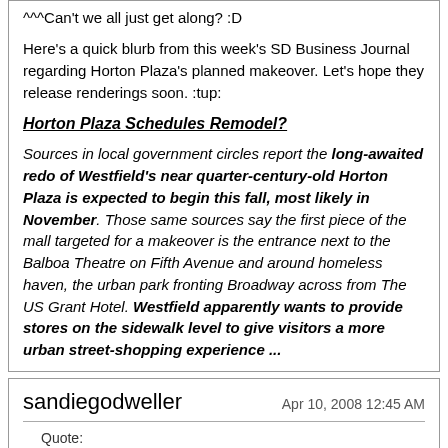^^^Can't we all just get along? :D
Here's a quick blurb from this week's SD Business Journal regarding Horton Plaza's planned makeover. Let's hope they release renderings soon. :tup:
Horton Plaza Schedules Remodel?
Sources in local government circles report the long-awaited redo of Westfield's near quarter-century-old Horton Plaza is expected to begin this fall, most likely in November. Those same sources say the first piece of the mall targeted for a makeover is the entrance next to the Balboa Theatre on Fifth Avenue and around homeless haven, the urban park fronting Broadway across from The US Grant Hotel. Westfield apparently wants to provide stores on the sidewalk level to give visitors a more urban street-shopping experience ...
sandiegodweller
Apr 10, 2008 12:45 AM
Quote:
Originally Posted by SDCAL (Post 3473011)
I admit I am a novice in this area as I don't have any connection to real estate, development, architecture, venture capital, and the like, but I would assume a plot of land with comprehensive design plans would be at least a little more